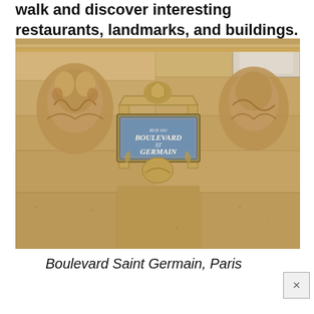walk and discover interesting restaurants, landmarks, and buildings.
[Figure (photo): Close-up photograph of an ornate stone building facade in Paris featuring decorative carved stonework with gargoyle-like figures and a blue street sign reading 'Boulevard Saint Germain' mounted within an elaborate carved architectural surround.]
Boulevard Saint Germain, Paris